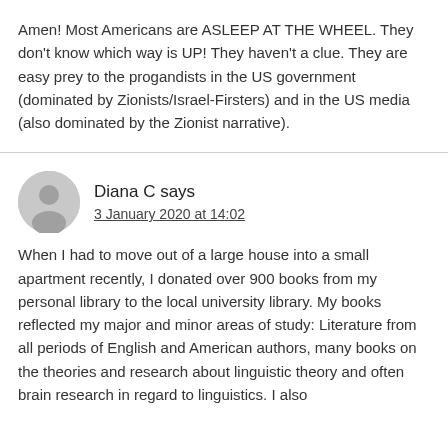Amen! Most Americans are ASLEEP AT THE WHEEL. They don't know which way is UP! They haven't a clue. They are easy prey to the progandists in the US government (dominated by Zionists/Israel-Firsters) and in the US media (also dominated by the Zionist narrative).
Diana C says
3 January 2020 at 14:02
When I had to move out of a large house into a small apartment recently, I donated over 900 books from my personal library to the local university library. My books reflected my major and minor areas of study: Literature from all periods of English and American authors, many books on the theories and research about linguistic theory and often brain research in regard to linguistics. I also